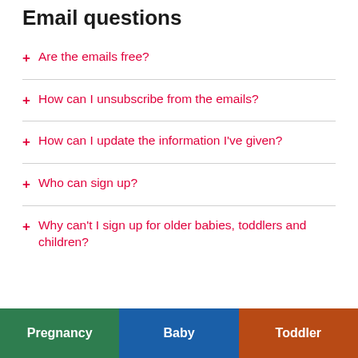Email questions
+ Are the emails free?
+ How can I unsubscribe from the emails?
+ How can I update the information I've given?
+ Who can sign up?
+ Why can't I sign up for older babies, toddlers and children?
Pregnancy  Baby  Toddler